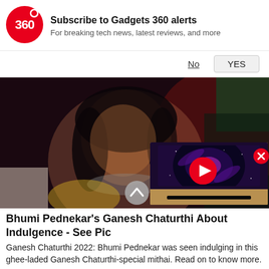[Figure (logo): Gadgets 360 logo - red circle with '360' text in white]
Subscribe to Gadgets 360 alerts
For breaking tech news, latest reviews, and more
No   YES
[Figure (photo): Main article photo of Bhumi Pednekar wearing silver jewelry, with a video overlay thumbnail showing a TV with galaxy screen]
Bhumi Pednekar's Ganesh Chaturthi About Indulgence - See Pic
Ganesh Chaturthi 2022: Bhumi Pednekar was seen indulging in this ghee-laded Ganesh Chaturthi-special mithai. Read on to know more.
Food